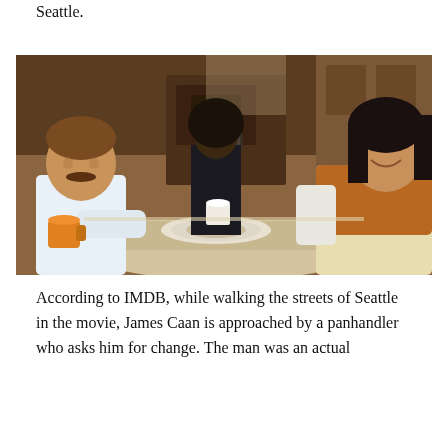…makes for a compelling slice of life, shot on the streets of Seattle.
[Figure (photo): A vintage color film still showing three people sitting around a table in what appears to be a kitchen or diner setting. On the left is a man with brown hair and a mustache wearing a white t-shirt, holding a yellow/orange coffee mug. In the center background stands a Black person in dark clothing. On the right is a woman with dark hair smiling, wearing a white and rust/orange top. There are plates, cups, and dishes on the table. The scene has a 1970s aesthetic with warm tones.]
According to IMDB, while walking the streets of Seattle in the movie, James Caan is approached by a panhandler who asks him for change. The man was an actual